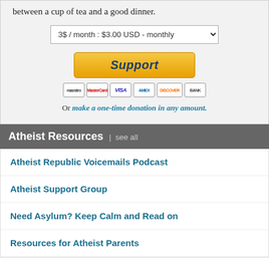between a cup of tea and a good dinner.
3$ / month : $3.00 USD - monthly
Support
Or make a one-time donation in any amount.
Atheist Resources | see all
Atheist Republic Voicemails Podcast
Atheist Support Group
Need Asylum? Keep Calm and Read on
Resources for Atheist Parents